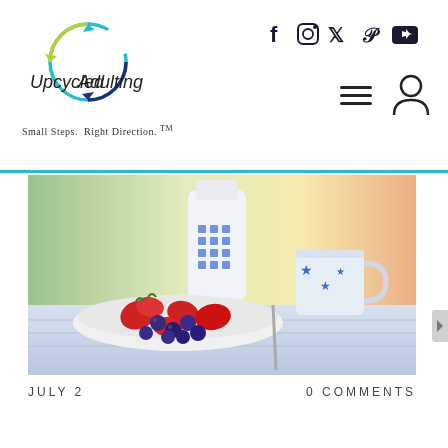[Figure (logo): Upcycled Adulting logo with circular arrows in blue and green, handwritten-style text, and tagline 'Small Steps. Right Direction. TM']
[Figure (illustration): Social media icons: Facebook, Instagram, Twitter, Pinterest, YouTube]
[Figure (illustration): Hamburger menu icon and user/profile icon]
[Figure (photo): Photo of a bowl of strawberries and blueberries with a blue-dotted milk bottle and a blue star mug in the background]
JULY 2
0 COMMENTS